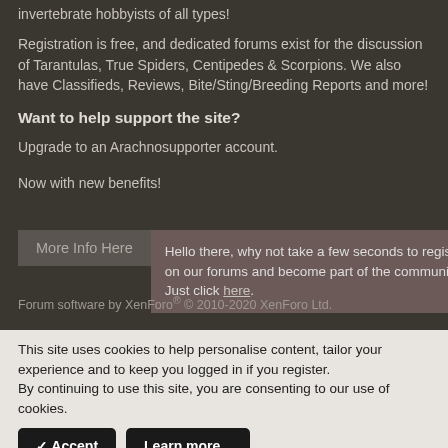invertebrate hobbyists of all types!
Registration is free, and dedicated forums exist for the discussion of Tarantulas, True Spiders, Centipedes & Scorpions. We also have Classifieds, Reviews, Bite/Sting/Breeding Reports and more!
Want to help support the site?
Upgrade to an Arachnosupporter account.
Now with new benefits!
More Info Here
Hello there, why not take a few seconds to register on our forums and become part of the community? Just click here.
Forum software by XenForo® © 2010-2020 XenForo Ltd.
This site uses cookies to help personalise content, tailor your experience and to keep you logged in if you register.
By continuing to use this site, you are consenting to our use of cookies.
✓ Accept
Learn more...